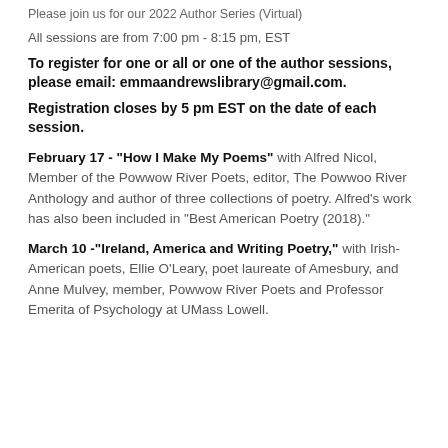Please join us for our 2022 Author Series (Virtual)
All sessions are from 7:00 pm - 8:15 pm, EST
To register for one or all or one of the author sessions, please email: emmaandrewslibrary@gmail.com.
Registration closes by 5 pm EST on the date of each session.
February 17 - "How I Make My Poems" with Alfred Nicol, Member of the Powwow River Poets, editor, The Powwow River Anthology and author of three collections of poetry. Alfred's work has also been included in "Best American Poetry (2018)."
March 10 - "Ireland, America and Writing Poetry," with Irish-American poets, Ellie O'Leary, poet laureate of Amesbury, and Anne Mulvey, member, Powwow River Poets and Professor Emerita of Psychology at UMass Lowell.